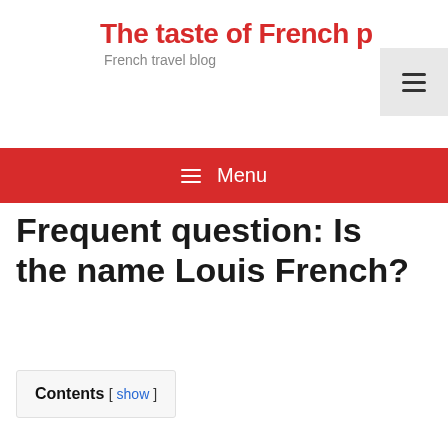The taste of French p
French travel blog
≡ Menu
Frequent question: Is the name Louis French?
Contents [ show ]